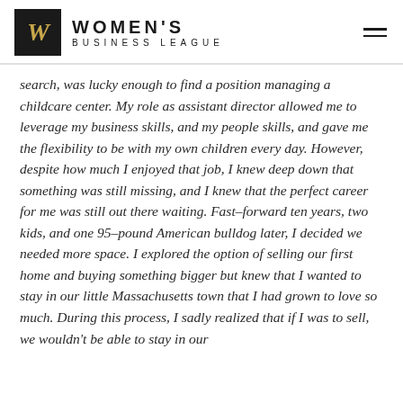WOMEN'S BUSINESS LEAGUE
search, was lucky enough to find a position managing a childcare center. My role as assistant director allowed me to leverage my business skills, and my people skills, and gave me the flexibility to be with my own children every day. However, despite how much I enjoyed that job, I knew deep down that something was still missing, and I knew that the perfect career for me was still out there waiting. Fast-forward ten years, two kids, and one 95-pound American bulldog later, I decided we needed more space. I explored the option of selling our first home and buying something bigger but knew that I wanted to stay in our little Massachusetts town that I had grown to love so much. During this process, I sadly realized that if I was to sell, we wouldn't be able to stay in our